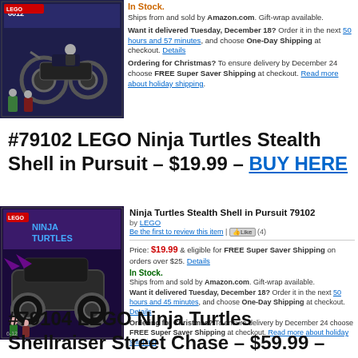[Figure (photo): LEGO Ninja Turtles motorcycle set product image on dark purple/black box]
In Stock.
Ships from and sold by Amazon.com. Gift-wrap available.
Want it delivered Tuesday, December 18? Order it in the next 50 hours and 57 minutes, and choose One-Day Shipping at checkout. Details
Ordering for Christmas? To ensure delivery by December 24 choose FREE Super Saver Shipping at checkout. Read more about holiday shipping.
#79102 LEGO Ninja Turtles Stealth Shell in Pursuit – $19.99 – BUY HERE
[Figure (photo): LEGO Ninja Turtles Stealth Shell in Pursuit 79102 product box image showing turtles vehicle set]
Ninja Turtles Stealth Shell in Pursuit 79102
by LEGO
Be the first to review this item | Like (4)
Price: $19.99 & eligible for FREE Super Saver Shipping on orders over $25. Details
In Stock.
Ships from and sold by Amazon.com. Gift-wrap available.
Want it delivered Tuesday, December 18? Order it in the next 50 hours and 45 minutes, and choose One-Day Shipping at checkout. Details
Ordering for Christmas? To ensure delivery by December 24 choose FREE Super Saver Shipping at checkout. Read more about holiday shipping.
#79104 LEGO Ninja Turtles Shellraiser Street Chase – $59.99 – BUY HERE